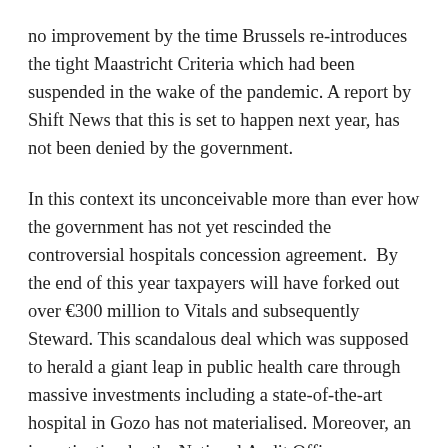no improvement by the time Brussels re-introduces the tight Maastricht Criteria which had been suspended in the wake of the pandemic. A report by Shift News that this is set to happen next year, has not been denied by the government.
In this context its unconceivable more than ever how the government has not yet rescinded the controversial hospitals concession agreement.  By the end of this year taxpayers will have forked out over €300 million to Vitals and subsequently Steward. This scandalous deal which was supposed to herald a giant leap in public health care through massive investments including a state-of-the-art hospital in Gozo has not materialised. Moreover, an investigation by the National Audit Office concluded that the deal should have been rescinded for the simple reason there had been collusion between Vitals and the government, apart from a host of other breaches. In 2022 alone, government allocated